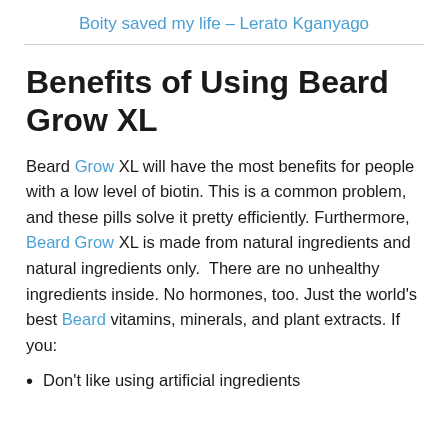Boity saved my life – Lerato Kganyago
Benefits of Using Beard Grow XL
Beard Grow XL will have the most benefits for people with a low level of biotin. This is a common problem, and these pills solve it pretty efficiently. Furthermore, Beard Grow XL is made from natural ingredients and natural ingredients only.  There are no unhealthy ingredients inside. No hormones, too. Just the world's best Beard vitamins, minerals, and plant extracts. If you:
Don't like using artificial ingredients